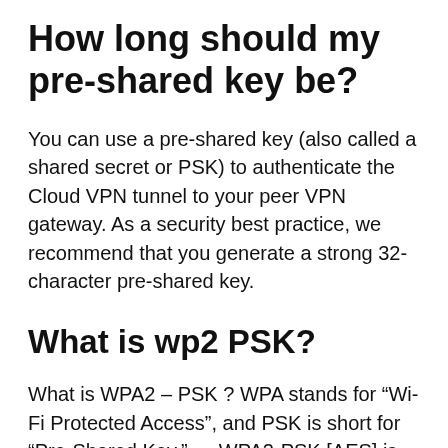How long should my pre-shared key be?
You can use a pre-shared key (also called a shared secret or PSK) to authenticate the Cloud VPN tunnel to your peer VPN gateway. As a security best practice, we recommend that you generate a strong 32-character pre-shared key.
What is wp2 PSK?
What is WPA2 – PSK ? WPA stands for “Wi-Fi Protected Access”, and PSK is short for “Pre-Shared Key.” … WPA2-PSK [AES] is the recommended secure method of making sure no one can actually listen to your wireless data while it’s being transmitted